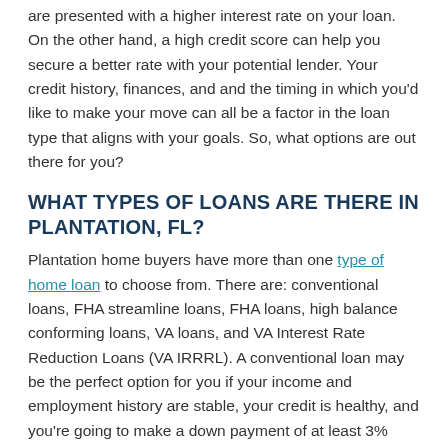are presented with a higher interest rate on your loan. On the other hand, a high credit score can help you secure a better rate with your potential lender. Your credit history, finances, and and the timing in which you'd like to make your move can all be a factor in the loan type that aligns with your goals. So, what options are out there for you?
WHAT TYPES OF LOANS ARE THERE IN PLANTATION, FL?
Plantation home buyers have more than one type of home loan to choose from. There are: conventional loans, FHA streamline loans, FHA loans, high balance conforming loans, VA loans, and VA Interest Rate Reduction Loans (VA IRRRL). A conventional loan may be the perfect option for you if your income and employment history are stable, your credit is healthy, and you're going to make a down payment of at least 3% depending on your situation.
VA loans and FHA loans fall into the government loan category. Credit and income requirements tend to have different criteria than conventional loans. Also, veterans, surviving spouses and active-duty service members may be eligible to apply for VA new